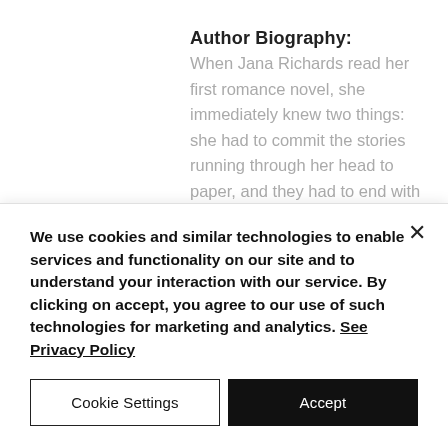Author Biography:
When Jana Richards read her first romance novel, she immediately knew two things: she had to commit the stories running through her head to paper, and they had to end with a happily ever after. She also knew she'd found what she was meant to do. Since then she's never met a romance genre she didn't like. She writes contemporary romance, romantic suspense, and historical romance set in World
We use cookies and similar technologies to enable services and functionality on our site and to understand your interaction with our service. By clicking on accept, you agree to our use of such technologies for marketing and analytics. See Privacy Policy
Cookie Settings
Accept